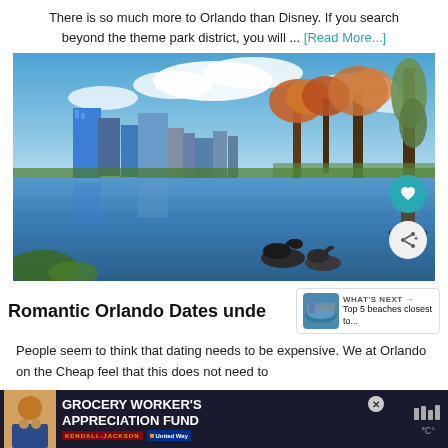There is so much more to Orlando than Disney. If you search beyond the theme park district, you will ... [Read More...]
[Figure (photo): Scenic photo of Orlando skyline reflected in a lake with swans and cypress trees in the foreground, blue sky with clouds]
Romantic Orlando Dates unde...
[Figure (photo): What's Next thumbnail: Top 5 beaches closest to...]
People seem to think that dating needs to be expensive. We at Orlando on the Cheap feel that this does not need to
[Figure (infographic): Advertisement banner: GROCERY WORKER'S APPRECIATION FUND with Kendall-Jackson and United Way logos, close button, and weather widget]